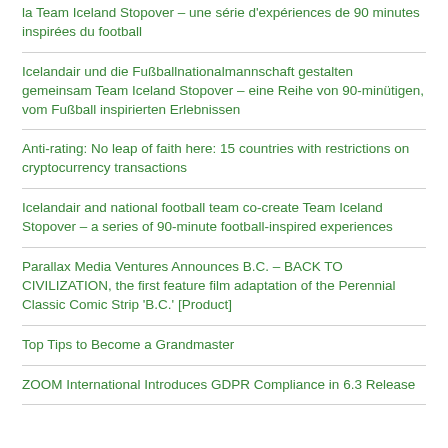la Team Iceland Stopover – une série d'expériences de 90 minutes inspirées du football
Icelandair und die Fußballnationalmannschaft gestalten gemeinsam Team Iceland Stopover – eine Reihe von 90-minütigen, vom Fußball inspirierten Erlebnissen
Anti-rating: No leap of faith here: 15 countries with restrictions on cryptocurrency transactions
Icelandair and national football team co-create Team Iceland Stopover – a series of 90-minute football-inspired experiences
Parallax Media Ventures Announces B.C. – BACK TO CIVILIZATION, the first feature film adaptation of the Perennial Classic Comic Strip 'B.C.' [Product]
Top Tips to Become a Grandmaster
ZOOM International Introduces GDPR Compliance in 6.3 Release